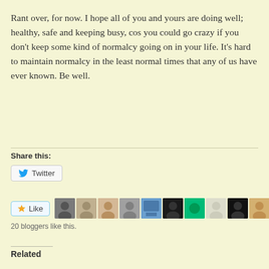Rant over, for now.  I hope all of you and yours are doing well;  healthy, safe and keeping busy, cos you could go crazy if you don't keep some kind of normalcy going on in your life. It's hard to maintain normalcy in the least normal times that any of us have ever known. Be well.
Share this:
[Figure (other): Twitter share button with bird icon]
[Figure (other): Like button with star icon and row of 11 blogger avatars]
20 bloggers like this.
Related